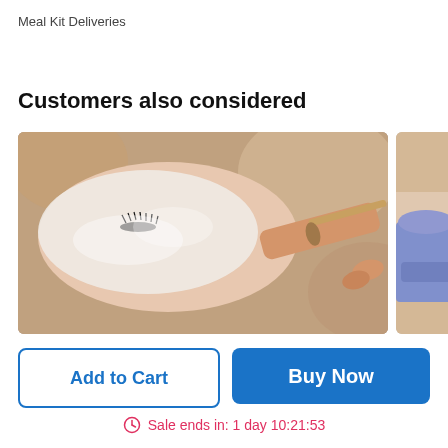Meal Kit Deliveries
Customers also considered
[Figure (photo): Person lying down receiving a facial treatment; a hand applies a cream or mask with a brush to the person's face covered in white cream, with visible eyelashes.]
[Figure (photo): Partial view of a person receiving a treatment, with a gloved hand visible in purple/blue glove.]
Add to Cart
Buy Now
Sale ends in: 1 day 10:21:53